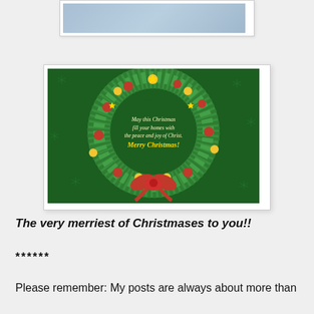[Figure (photo): Partial view of an image at the top of the page, showing a light blue/grey background clipped at the bottom edge, with a white border/frame around it.]
[Figure (photo): A Christmas wreath with green pine branches decorated with red and gold ornament balls and stars, a large red bow at the bottom, on a dark green background with snowflake patterns. In the center of the wreath is cursive text reading: May this Christmas fill your homes with the peace and joy of Christ. Merry Christmas!]
The very merriest of Christmases to you!!
******
Please remember: My posts are always about more than